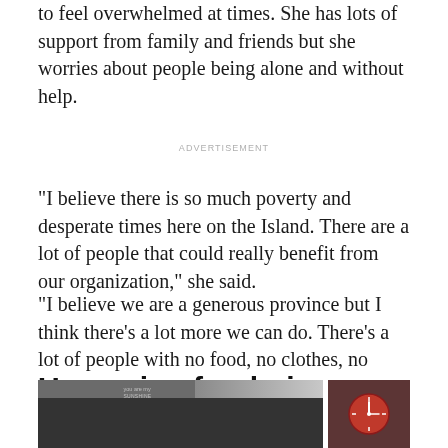to feel overwhelmed at times. She has lots of support from family and friends but she worries about people being alone and without help.
ADVERTISEMENT
"I believe there is so much poverty and desperate times here on the Island. There are a lot of people that could really benefit from our organization," she said.
"I believe we are a generous province but I think there's a lot more we can do. There's a lot of people with no food, no clothes, no support."
Upcoming fundraiser
[Figure (photo): Photo strip showing people in an indoor setting; a red clock is visible on the right side; text reading 'you are my sunshine' is partially visible on a wall on the left side.]